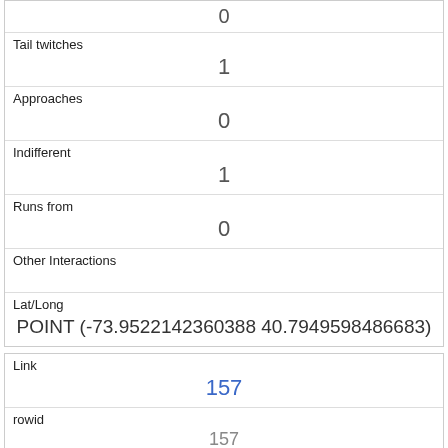| Tail twitches | 1 |
| Approaches | 0 |
| Indifferent | 1 |
| Runs from | 0 |
| Other Interactions |  |
| Lat/Long | POINT (-73.9522142360388 40.7949598486683) |
| Link | 157 |
| rowid | 157 |
| longitude | -73.9637946878735 |
| latitude |  |